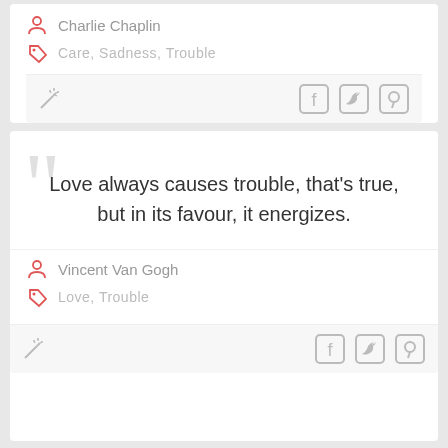Charlie Chaplin
Care,  Sadness,  Trouble
Love always causes trouble, that’s true, but in its favour, it energizes.
Vincent Van Gogh
Love,  Trouble
If Man could have Half his Wishes, he would